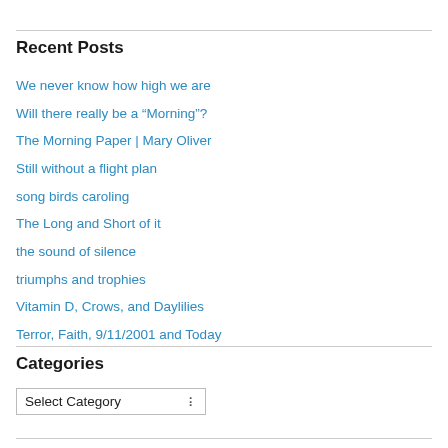Recent Posts
We never know how high we are
Will there really be a “Morning”?
The Morning Paper | Mary Oliver
Still without a flight plan
song birds caroling
The Long and Short of it
the sound of silence
triumphs and trophies
Vitamin D, Crows, and Daylilies
Terror, Faith, 9/11/2001 and Today
Categories